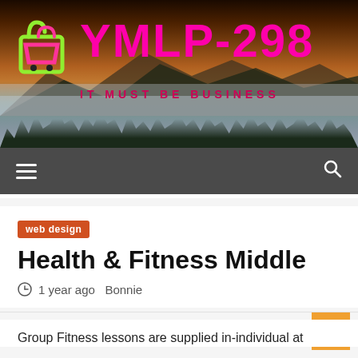[Figure (screenshot): Website header banner with mountain/forest landscape background at sunset, showing YMLP-298 logo with shopping bag icon, site title 'YMLP-298' in magenta, tagline 'IT MUST BE BUSINESS' in dark pink]
YMLP-298 IT MUST BE BUSINESS
web design
Health & Fitness Middle
1 year ago  Bonnie
Group Fitness lessons are supplied in-individual at